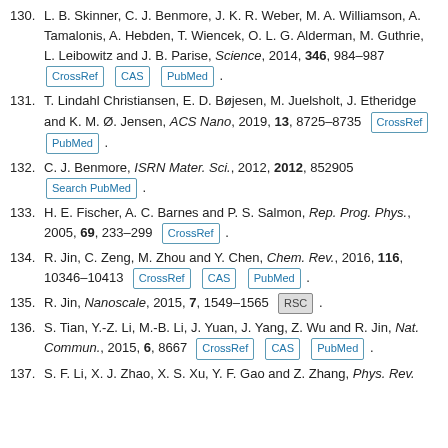130. L. B. Skinner, C. J. Benmore, J. K. R. Weber, M. A. Williamson, A. Tamalonis, A. Hebden, T. Wiencek, O. L. G. Alderman, M. Guthrie, L. Leibowitz and J. B. Parise, Science, 2014, 346, 984–987 [CrossRef] [CAS] [PubMed].
131. T. Lindahl Christiansen, E. D. Bøjesen, M. Juelsholt, J. Etheridge and K. M. Ø. Jensen, ACS Nano, 2019, 13, 8725–8735 [CrossRef] [PubMed].
132. C. J. Benmore, ISRN Mater. Sci., 2012, 2012, 852905 [Search PubMed].
133. H. E. Fischer, A. C. Barnes and P. S. Salmon, Rep. Prog. Phys., 2005, 69, 233–299 [CrossRef].
134. R. Jin, C. Zeng, M. Zhou and Y. Chen, Chem. Rev., 2016, 116, 10346–10413 [CrossRef] [CAS] [PubMed].
135. R. Jin, Nanoscale, 2015, 7, 1549–1565 [RSC].
136. S. Tian, Y.-Z. Li, M.-B. Li, J. Yuan, J. Yang, Z. Wu and R. Jin, Nat. Commun., 2015, 6, 8667 [CrossRef] [CAS] [PubMed].
137. S. F. Li, X. J. Zhao, X. S. Xu, Y. F. Gao and Z. Zhang, Phys. Rev.